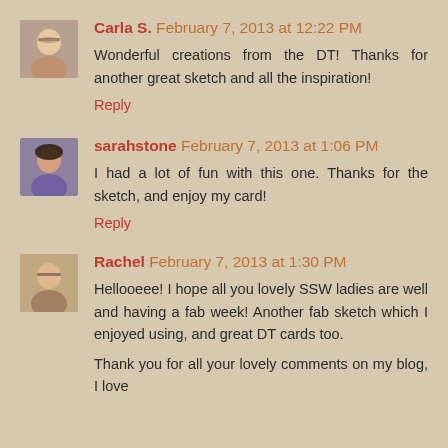[Figure (photo): Avatar photo of Carla S., a woman with glasses]
Carla S. February 7, 2013 at 12:22 PM
Wonderful creations from the DT! Thanks for another great sketch and all the inspiration!
Reply
[Figure (photo): Avatar photo of sarahstone, a woman with dark hair]
sarahstone February 7, 2013 at 1:06 PM
I had a lot of fun with this one. Thanks for the sketch, and enjoy my card!
Reply
[Figure (photo): Avatar photo of Rachel, a woman with glasses]
Rachel February 7, 2013 at 1:30 PM
Hellooeee! I hope all you lovely SSW ladies are well and having a fab week! Another fab sketch which I enjoyed using, and great DT cards too.
Thank you for all your lovely comments on my blog, I love